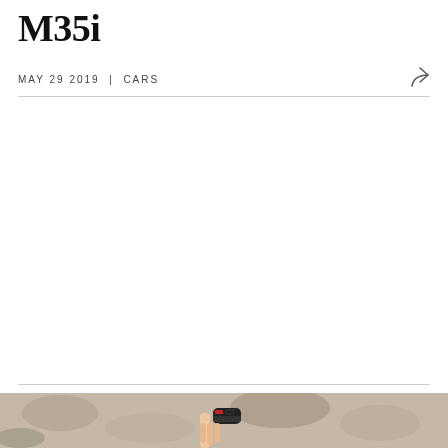M35i
MAY 29 2019  |  CARS
[Figure (photo): Bottom strip showing a hand holding a car key fob against a rocky/gravel background]